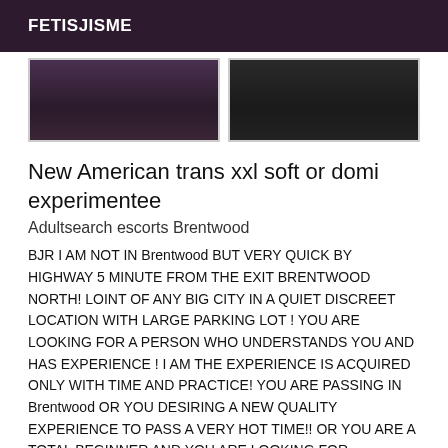FETISJISME
[Figure (photo): Two cropped photos side by side, partially visible at top of page, dark/low-light images]
New American trans xxl soft or domi experimentee
Adultsearch escorts Brentwood
BJR I AM NOT IN Brentwood BUT VERY QUICK BY HIGHWAY 5 MINUTE FROM THE EXIT BRENTWOOD NORTH! LOINT OF ANY BIG CITY IN A QUIET DISCREET LOCATION WITH LARGE PARKING LOT ! YOU ARE LOOKING FOR A PERSON WHO UNDERSTANDS YOU AND HAS EXPERIENCE ! I AM THE EXPERIENCE IS ACQUIRED ONLY WITH TIME AND PRACTICE! YOU ARE PASSING IN Brentwood OR YOU DESIRING A NEW QUALITY EXPERIENCE TO PASS A VERY HOT TIME!! OR YOU ARE A TOTAL BEGINNER AND YOU ARE LOOKING FOR SOMEONE WHO WILL MAKE YOU FEEL CONFIDENT!! THEN